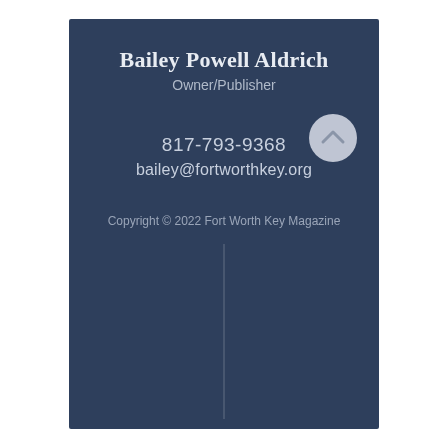Bailey Powell Aldrich
Owner/Publisher
817-793-9368
bailey@fortworthkey.org
Copyright © 2022 Fort Worth Key Magazine
[Figure (illustration): Circular button with a chevron/up-arrow icon on a dark navy background]